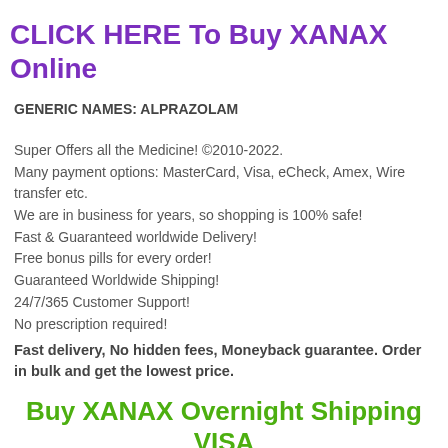CLICK HERE To Buy XANAX Online
GENERIC NAMES: ALPRAZOLAM
Super Offers all the Medicine! ©2010-2022.
Many payment options: MasterCard, Visa, eCheck, Amex, Wire transfer etc.
We are in business for years, so shopping is 100% safe!
Fast & Guaranteed worldwide Delivery!
Free bonus pills for every order!
Guaranteed Worldwide Shipping!
24/7/365 Customer Support!
No prescription required!
Fast delivery, No hidden fees, Moneyback guarantee. Order in bulk and get the lowest price.
Buy XANAX Overnight Shipping VISA